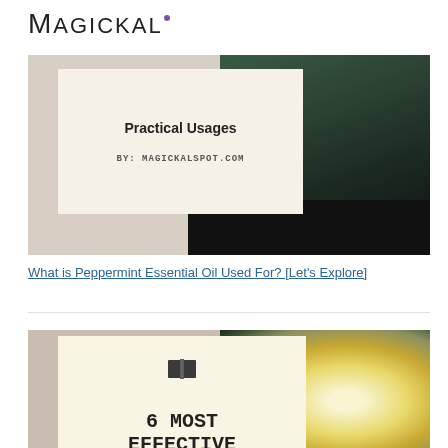MAGICKAL
[Figure (photo): Card image with cream overlay showing 'Practical Usages' title and 'BY: MAGICKALSPOT.COM' text over a dark nature/botanical background photo]
What is Peppermint Essential Oil Used For? [Let's Explore]
[Figure (photo): Card image with cream overlay showing a book icon and '6 MOST EFFECTIVE ESSENTIAL' text over a white tropical flower (plumeria/frangipani) photo]